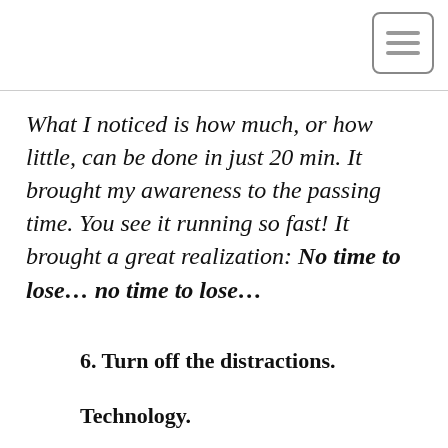[Figure (other): Menu icon: three horizontal lines inside a rounded rectangle border]
What I noticed is how much, or how little, can be done in just 20 min. It brought my awareness to the passing time. You see it running so fast! It brought a great realization: No time to lose... no time to lose...
6. Turn off the distractions.
Technology.